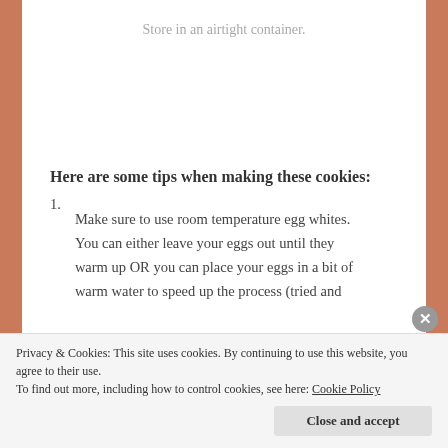Store in an airtight container.
Here are some tips when making these cookies:
1. Make sure to use room temperature egg whites. You can either leave your eggs out until they warm up OR you can place your eggs in a bit of warm water to speed up the process (tried and
Privacy & Cookies: This site uses cookies. By continuing to use this website, you agree to their use.
To find out more, including how to control cookies, see here: Cookie Policy
Close and accept